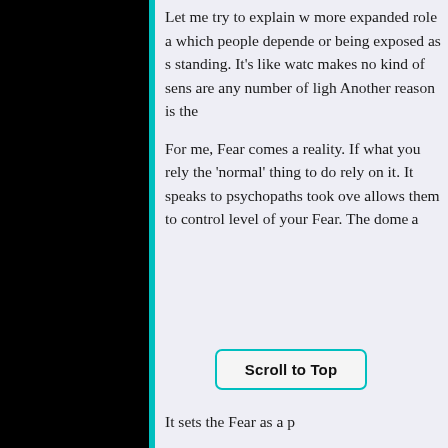[Figure (other): Black panel on the left side of the page, approximately two-thirds of the page width]
Let me try to explain w more expanded role a which people depende or being exposed as s standing. It's like watc makes no kind of sens are any number of ligh Another reason is the
For me, Fear comes a reality. If what you rely the 'normal' thing to do rely on it. It speaks to psychopaths took ove allows them to control level of your Fear. The dome a It sets the Fear as a p